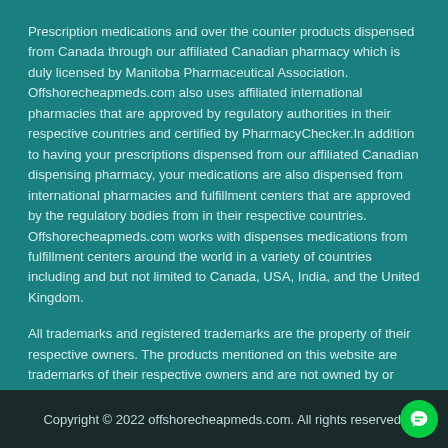Prescription medications and over the counter products dispensed from Canada through our affiliated Canadian pharmacy which is duly licensed by Manitoba Pharmaceutical Association. Offshorecheapmeds.com also uses affiliated international pharmacies that are approved by regulatory authorities in their respective countries and certified by PharmacyChecker.In addition to having your prescriptions dispensed from our affiliated Canadian dispensing pharmacy, your medications are also dispensed from international pharmacies and fulfillment centers that are approved by the regulatory bodies from in their respective countries. Offshorecheapmeds.com works with dispenses medications from fulfillment centers around the world in a variety of countries including and but not limited to Canada, USA, India, and the United Kingdom.
All trademarks and registered trademarks are the property of their respective owners. The products mentioned on this website are trademarks of their respective owners and are not owned by or affiliated with Offshorecheapmeds.com or any of its associated companies.
See our 838 reviews on  Trustpilot
Copyright © 2022 offshorecheapmeds.com. All rights reserved.